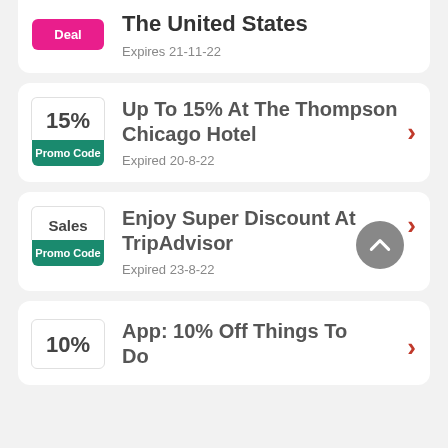Deal – The United States, Expires 21-11-22
15% Promo Code – Up To 15% At The Thompson Chicago Hotel, Expired 20-8-22
Sales Promo Code – Enjoy Super Discount At TripAdvisor, Expired 23-8-22
10% – App: 10% Off Things To Do